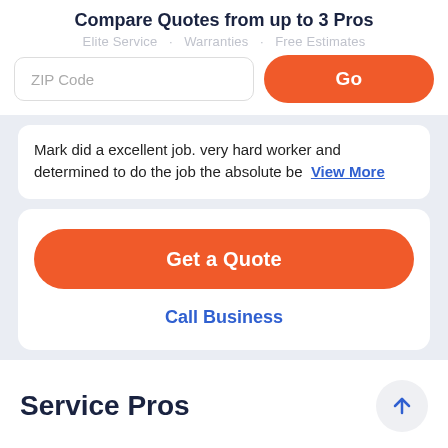Compare Quotes from up to 3 Pros
Elite Service · Warranties · Free Estimates
ZIP Code
Go
Mark did a excellent job. very hard worker and determined to do the job the absolute be View More
Get a Quote
Call Business
Service Pros